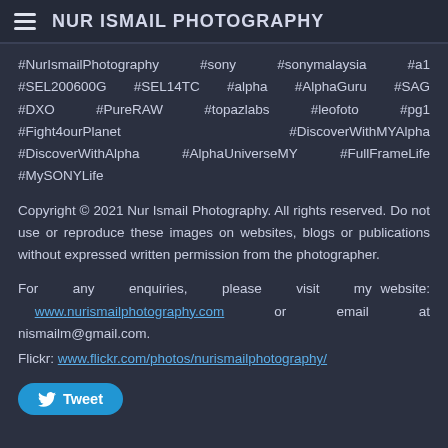NUR ISMAIL PHOTOGRAPHY
#NurIsmailPhotography #sony #sonymalaysia #a1 #SEL200600G #SEL14TC #alpha #AlphaGuru #SAG #DXO #PureRAW #topazlabs #leofoto #pg1 #Fight4ourPlanet #DiscoverWithMYAlpha #DiscoverWithAlpha #AlphaUniverseMY #FullFrameLife #MySONYLife
Copyright © 2021 Nur Ismail Photography. All rights reserved. Do not use or reproduce these images on websites, blogs or publications without expressed written permission from the photographer.
For any enquiries, please visit my website: www.nurismailphotography.com or email at nismailm@gmail.com.
Flickr: www.flickr.com/photos/nurismailphotography/
Tweet